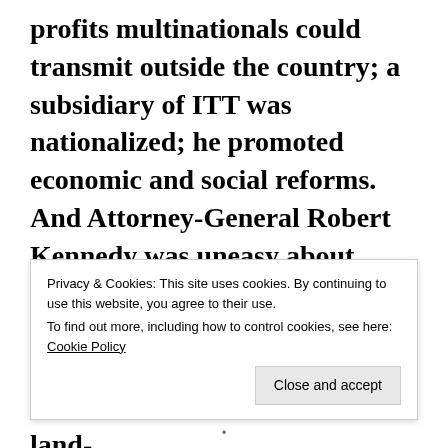profits multinationals could transmit outside the country; a subsidiary of ITT was nationalized; he promoted economic and social reforms. And Attorney-General Robert Kennedy was uneasy about Goulart allowing “communists” to hold positions in government agencies. Yet the man was no radical. He was a millionaire land-
Privacy & Cookies: This site uses cookies. By continuing to use this website, you agree to their use. To find out more, including how to control cookies, see here: Cookie Policy
Close and accept